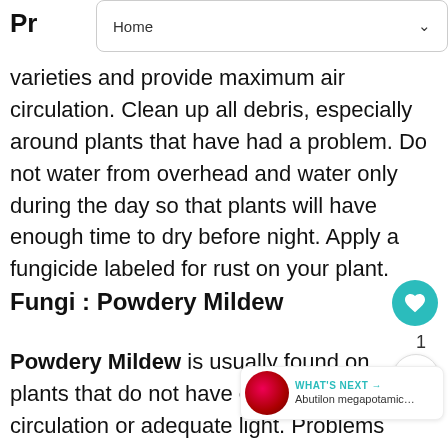Home
Pr…
varieties and provide maximum air circulation. Clean up all debris, especially around plants that have had a problem. Do not water from overhead and water only during the day so that plants will have enough time to dry before night. Apply a fungicide labeled for rust on your plant.
Fungi : Powdery Mildew
Powdery Mildew is usually found on plants that do not have enough air circulation or adequate light. Problems are worse when nights are cool and days are warm and humid. The powdery white or gray fungus is usually…